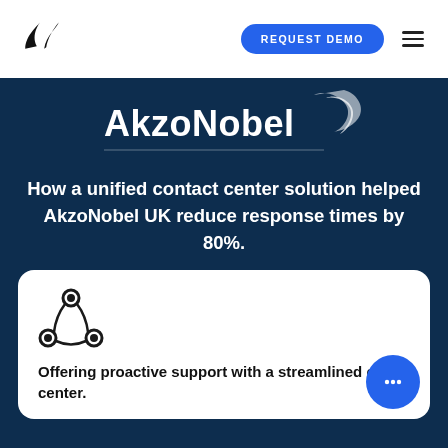[Figure (logo): Mitel or similar company logo - two leaf/sprout shapes in black]
REQUEST DEMO
[Figure (logo): AkzoNobel logo in white on dark blue background with decorative figure]
How a unified contact center solution helped AkzoNobel UK reduce response times by 80%.
[Figure (illustration): Three connected circles icon representing a care center or network]
Offering proactive support with a streamlined care center.